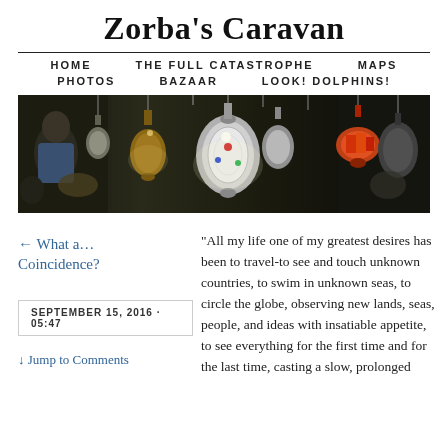Zorba's Caravan
HOME   THE FULL CATASTROPHE   MAPS   PHOTOS   BAZAAR   LOOK! DOLPHINS!
[Figure (photo): Photograph of a Moroccan or Middle Eastern market stall displaying ornate metal lanterns and lamps hanging from the ceiling, with a person visible in the background.]
← What a… Coincidence?
SEPTEMBER 15, 2016 · 05:47
↓ Jump to Comments
"All my life one of my greatest desires has been to travel-to see and touch unknown countries, to swim in unknown seas, to circle the globe, observing new lands, seas, people, and ideas with insatiable appetite, to see everything for the first time and for the last time, casting a slow, prolonged